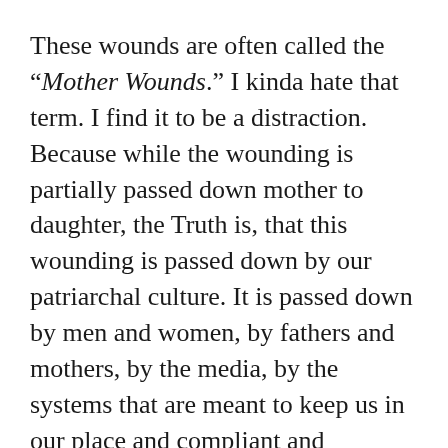These wounds are often called the “Mother Wounds.” I kinda hate that term. I find it to be a distraction. Because while the wounding is partially passed down mother to daughter, the Truth is, that this wounding is passed down by our patriarchal culture. It is passed down by men and women, by fathers and mothers, by the media, by the systems that are meant to keep us in our place and compliant and complicit and obedient.
So, I call these wounds Patriarchal